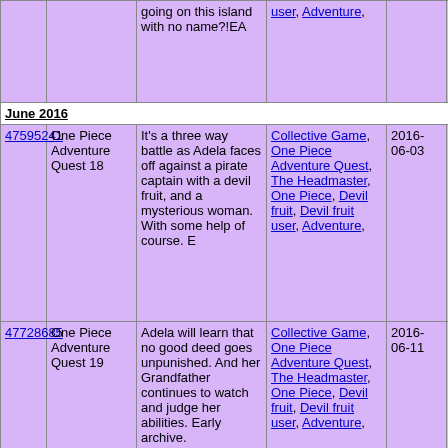| ID | Title | Description | Tags | Date | Num |  |
| --- | --- | --- | --- | --- | --- | --- |
|  |  | going on this island with no name?!EA | user, Adventure, |  |  |  |
| June 2016 |  |  |  |  |  |  |
| 47595241 | One Piece Adventure Quest 18 | It's a three way battle as Adela faces off against a pirate captain with a devil fruit, and a mysterious woman. With some help of course. E | Collective Game, One Piece Adventure Quest, The Headmaster, One Piece, Devil fruit, Devil fruit user, Adventure, | 2016-06-03 | 11 |  |
| 47728685 | One Piece Adventure Quest 19 | Adela will learn that no good deed goes unpunished. And her Grandfather continues to watch and judge her abilities. Early archive. | Collective Game, One Piece Adventure Quest, The Headmaster, One Piece, Devil fruit, Devil fruit user, Adventure, | 2016-06-11 | 11 |  |
|  |  | The fight between the lass twins continues | Collective Game, One Piece |  |  |  |